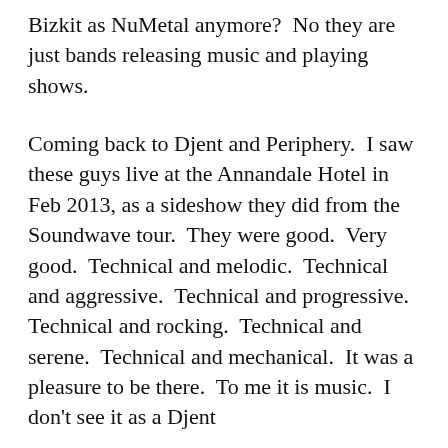Bizkit as NuMetal anymore?  No they are just bands releasing music and playing shows.
Coming back to Djent and Periphery.  I saw these guys live at the Annandale Hotel in Feb 2013, as a sideshow they did from the Soundwave tour.  They were good.  Very good.  Technical and melodic.  Technical and aggressive.  Technical and progressive.  Technical and rocking.  Technical and serene.  Technical and mechanical.  It was a pleasure to be there.  To me it is music.  I don't see it as a Djent